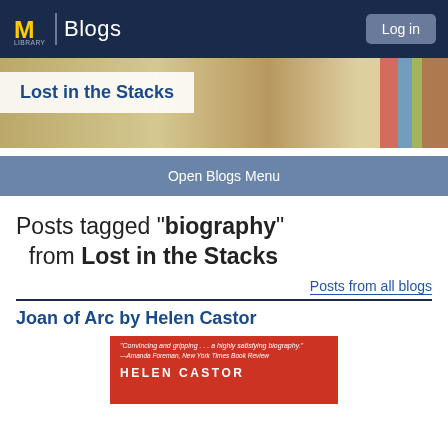M Library | Blogs — Log in
[Figure (photo): Library hallway banner photo with 'Lost in the Stacks' title overlay]
Open Blogs Menu
Posts tagged "biography" from Lost in the Stacks
Posts from all blogs
Joan of Arc by Helen Castor
[Figure (photo): Red book cover for Joan of Arc by Helen Castor with quote: 'Convincing and gripping... a highly satisfying biography.' —Amanda Foreman, New York Times Book Review]